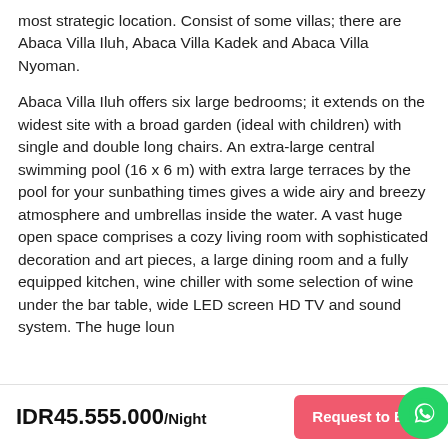most strategic location. Consist of some villas; there are Abaca Villa Iluh, Abaca Villa Kadek and Abaca Villa Nyoman.
Abaca Villa Iluh offers six large bedrooms; it extends on the widest site with a broad garden (ideal with children) with single and double long chairs. An extra-large central swimming pool (16 x 6 m) with extra large terraces by the pool for your sunbathing times gives a wide airy and breezy atmosphere and umbrellas inside the water. A vast huge open space comprises a cozy living room with sophisticated decoration and art pieces, a large dining room and a fully equipped kitchen, wine chiller with some selection of wine under the bar table, wide LED screen HD TV and sound system. The huge loun
IDR45.555.000/Night
Request to Bo